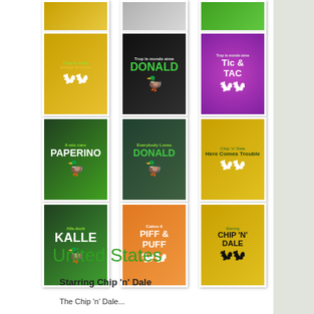[Figure (photo): Grid of Disney DVD covers including Chip & Chap, Donald Duck, Tic & Tac, Paperino, Everybody Loves Donald, Chip n Dale, Kalle, Piff & Puff, and Starring Chip n Dale]
United States
Starring Chip 'n' Dale
The Chip 'n' Dale...